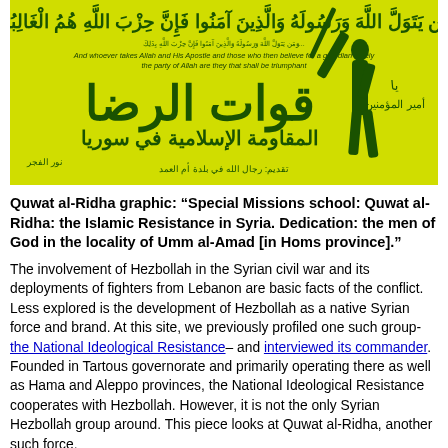[Figure (illustration): Yellow propaganda poster for Quwat al-Ridha (Islamic Resistance in Syria) showing Arabic text and a silhouette of a fighter holding a weapon aloft. Arabic Quranic verse at top, English translation below it, large Arabic text reading 'Quwat al-Ridha', subtitle 'al-Muqawama al-Islamiyya fi Suriya', dedication text at bottom.]
Quwat al-Ridha graphic: "Special Missions school: Quwat al-Ridha: the Islamic Resistance in Syria. Dedication: the men of God in the locality of Umm al-Amad [in Homs province]."
The involvement of Hezbollah in the Syrian civil war and its deployments of fighters from Lebanon are basic facts of the conflict. Less explored is the development of Hezbollah as a native Syrian force and brand. At this site, we previously profiled one such group- the National Ideological Resistance– and interviewed its commander. Founded in Tartous governorate and primarily operating there as well as Hama and Aleppo provinces, the National Ideological Resistance cooperates with Hezbollah. However, it is not the only Syrian Hezbollah group around. This piece looks at Quwat al-Ridha, another such force.